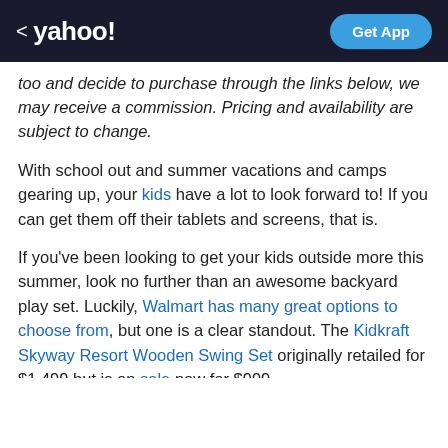< yahoo!  Get App
too and decide to purchase through the links below, we may receive a commission. Pricing and availability are subject to change.
With school out and summer vacations and camps gearing up, your kids have a lot to look forward to! If you can get them off their tablets and screens, that is.
If you've been looking to get your kids outside more this summer, look no further than an awesome backyard play set. Luckily, Walmart has many great options to choose from, but one is a clear standout. The Kidkraft Skyway Resort Wooden Swing Set originally retailed for $1,499 but is on sale now for $999.
Ad  Scroll to continue with content  ...
Nerds know money